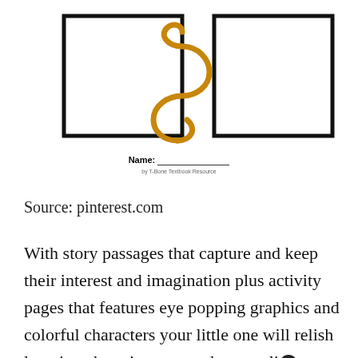[Figure (illustration): Two rectangular bordered boxes flanking a decorative golden/orange swirl or curl logo, resembling a worksheet header template with Name field below]
Name: _____________
by T-Bone Textbook Resource
Source: pinterest.com
With story passages that capture and keep their interest and imagination plus activity pages that features eye popping graphics and colorful characters your little one will relish learning about important elements like...